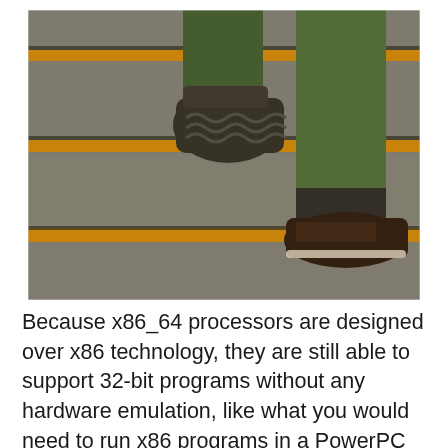[Figure (photo): A person walking up stairs viewed from behind/below, wearing green pants and dark sneakers. The stairs have yellow/orange safety strips on grey concrete steps. The image has a muted, vintage-toned look.]
Because x86_64 processors are designed over x86 technology, they are still able to support 32-bit programs without any hardware emulation, like what you would need to run x86 programs in a PowerPC